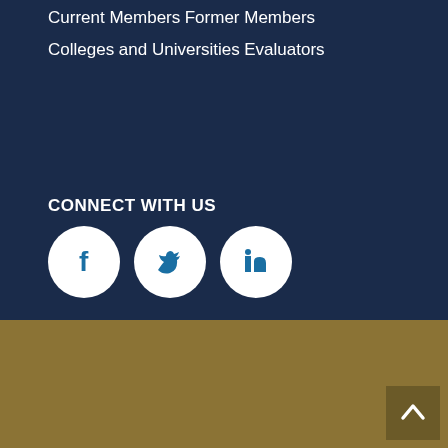Current Members
Former Members
Colleges and Universities
Evaluators
CONNECT WITH US
[Figure (illustration): Three social media icons in white circles on dark blue background: Facebook (f), Twitter (bird), LinkedIn (in)]
The National College Credit Recommendation Service (NCCRS) is a program of the Board of Regents of The University of the State of New York.